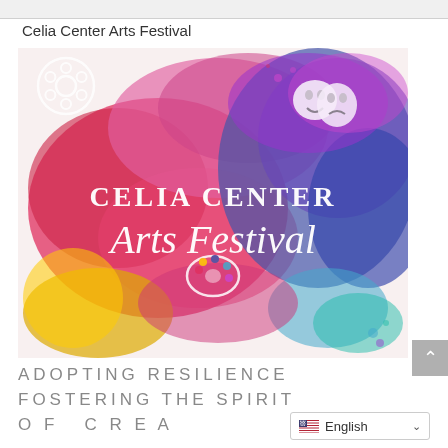Celia Center Arts Festival
[Figure (illustration): Colorful watercolor splashes in red, pink, purple, blue, and yellow forming the background. White text reads 'CELIA CENTER Arts Festival' in stylized lettering. Theatre comedy/tragedy masks icon in upper right. Film reel icon in upper left. Artist palette icon in lower center area.]
ADOPTING RESILIENCE
FOSTERING THE SPIRIT
OF CREA
English